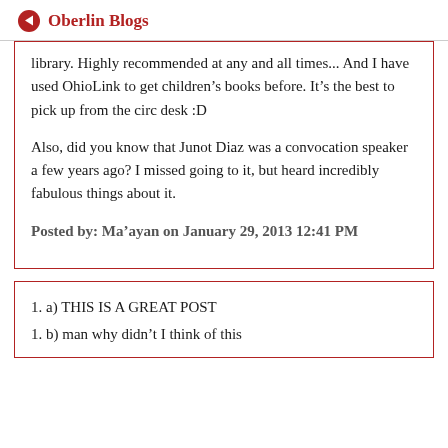Oberlin Blogs
library. Highly recommended at any and all times... And I have used OhioLink to get children’s books before. It’s the best to pick up from the circ desk :D

Also, did you know that Junot Diaz was a convocation speaker a few years ago? I missed going to it, but heard incredibly fabulous things about it.
Posted by: Ma’ayan on January 29, 2013 12:41 PM
1. a) THIS IS A GREAT POST
1. b) man why didn’t I think of this